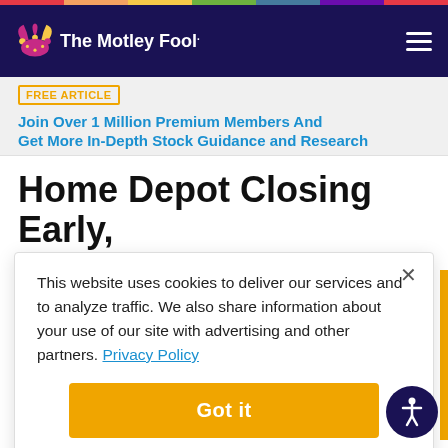The Motley Fool
FREE ARTICLE | Join Over 1 Million Premium Members And Get More In-Depth Stock Guidance and Research
Home Depot Closing Early, Offering Workers Additional Time Off
This website uses cookies to deliver our services and to analyze traffic. We also share information about your use of our site with advertising and other partners. Privacy Policy
Got it
Cookie Settings